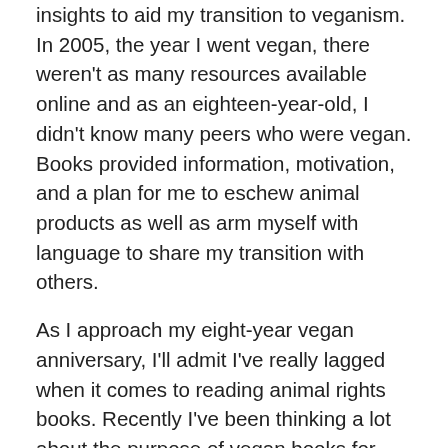insights to aid my transition to veganism. In 2005, the year I went vegan, there weren't as many resources available online and as an eighteen-year-old, I didn't know many peers who were vegan. Books provided information, motivation, and a plan for me to eschew animal products as well as arm myself with language to share my transition with others.
As I approach my eight-year vegan anniversary, I'll admit I've really lagged when it comes to reading animal rights books. Recently I've been thinking a lot about the purpose of vegan books for already-vegan audiences. The value of vegan cookbooks for vegans is pretty obvious–who isn't a fan of new recipe collections? But what about animal rights books for those of us who have already committed to fighting animal welfare injustices? I thought that since I didn't need to watch Meat Your